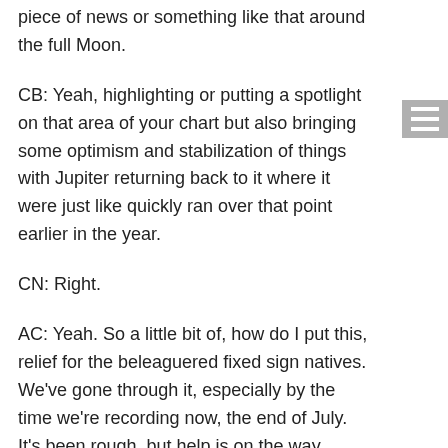piece of news or something like that around the full Moon.
CB: Yeah, highlighting or putting a spotlight on that area of your chart but also bringing some optimism and stabilization of things with Jupiter returning back to it where it were just like quickly ran over that point earlier in the year.
CN: Right.
AC: Yeah. So a little bit of, how do I put this, relief for the beleaguered fixed sign natives. We’ve gone through it, especially by the time we’re recording now, the end of July. It’s been rough, but help is on the way.